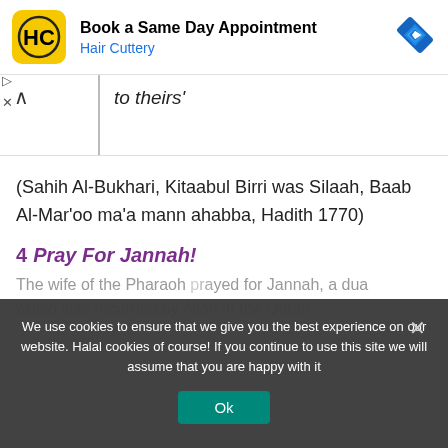[Figure (logo): Hair Cuttery advertisement banner with HC logo, 'Book a Same Day Appointment', 'Hair Cuttery' in blue, and a blue navigation arrow icon on the right]
to theirs'
(Sahih Al-Bukhari, Kitaabul Birri was Silaah, Baab Al-Mar'oo ma'a mann ahabba, Hadith 1770)
4 Pray For Jannah!
We use cookies to ensure that we give you the best experience on our website. Halal cookies of course! If you continue to use this site we will assume that you are happy with it
The wife of the Pharaoh prayed for Jannah, a dua which was recorded by Allah in the Quran